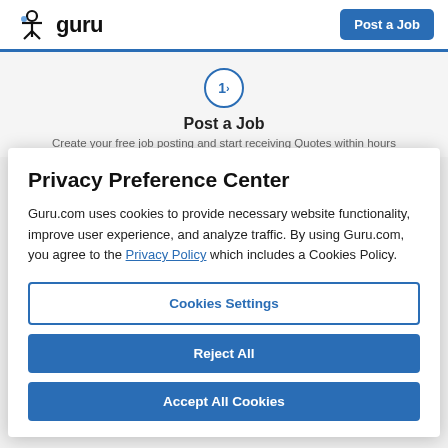guru | Post a Job
Post a Job
Create your free job posting and start receiving Quotes within hours
Privacy Preference Center
Guru.com uses cookies to provide necessary website functionality, improve user experience, and analyze traffic. By using Guru.com, you agree to the Privacy Policy which includes a Cookies Policy.
Cookies Settings
Reject All
Accept All Cookies